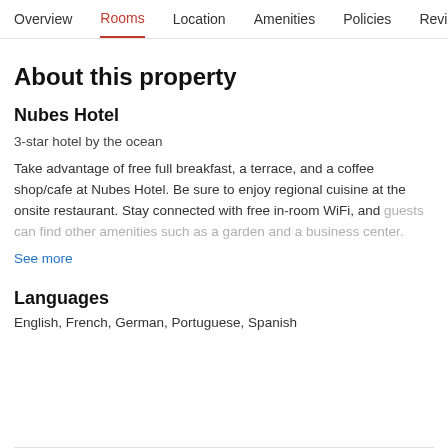Overview  Rooms  Location  Amenities  Policies  Reviews
About this property
Nubes Hotel
3-star hotel by the ocean
Take advantage of free full breakfast, a terrace, and a coffee shop/cafe at Nubes Hotel. Be sure to enjoy regional cuisine at the onsite restaurant. Stay connected with free in-room WiFi, and guests can find other amenities such as a garden and a business center.
See more
Languages
English, French, German, Portuguese, Spanish